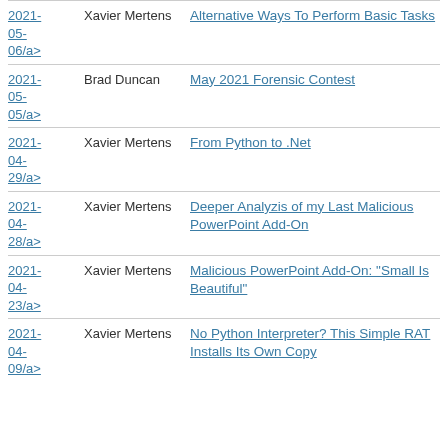2021-05-06/a> | Xavier Mertens | Alternative Ways To Perform Basic Tasks
2021-05-05/a> | Brad Duncan | May 2021 Forensic Contest
2021-04-29/a> | Xavier Mertens | From Python to .Net
2021-04-28/a> | Xavier Mertens | Deeper Analyzis of my Last Malicious PowerPoint Add-On
2021-04-23/a> | Xavier Mertens | Malicious PowerPoint Add-On: "Small Is Beautiful"
2021-04-09/a> | Xavier Mertens | No Python Interpreter? This Simple RAT Installs Its Own Copy